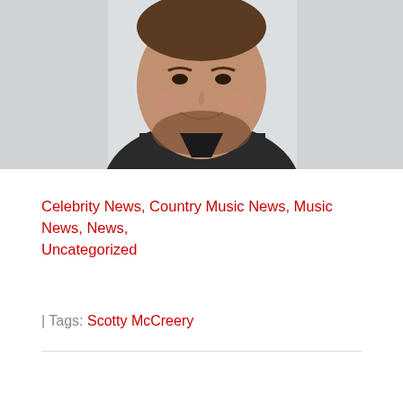[Figure (photo): Photo of a smiling man with short beard wearing a dark shirt, cropped from chest up, light background]
Celebrity News, Country Music News, Music News, News, Uncategorized
| Tags: Scotty McCreery